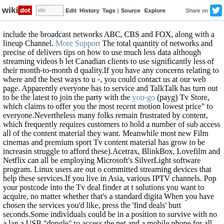wikidot | site | Edit | History | Tags | Source | Explore | Share on [Twitter]
include the broadcast networks ABC, CBS and FOX, along with a lineup Channel. More Support The total quantity of networks and precise of delivers tips on how to use much less data although streaming videos b let Canadian clients to use significantly less of their month-to-month d quality.If you have any concerns relating to where and the best ways to u -, you could contact us at our web page. Apparently everyone has to service and TalkTalk has turn out to be the latest to join the party with the you-go (payg) Tv Store, which claims to offer you the most recent motion lowest price" to everyone.Nevertheless many folks remain frustrated by content, which frequently requires customers to hold a number of sub access all of the content material they want. Meanwhile most new Film cinemas and premium sport Tv content material has grow to be increasin struggle to afford these).Acetrax, BlinkBox, Lovefilm and Netflix can all be employing Microsoft's SilverLight software program. Linux users are out o committed streaming devices that help these services.If you live in Asia, various IPTV channels. Pop your postcode into the Tv deal finder at t solutions you want to acquire, no matter whether that's a standard digita When you have chosen the services you'd like, press the 'find deals' butt seconds.Some individuals could be in a position to survive with no a lan a USB "dongle" to access the net and a mobile phone for all their teleph modem that consists of a Sim card which plugs into the USB port of yo through the 3G mobile network. Mobile networks 3, Vodafone, T-Mobil start off from as tiny as £10 a month.Value for income isn't just measur might be less expensive, but it may not give you access to the channel critical to make confident you're getting almost everything you need from value.This is why an IPTV selection like BBC iPlayer (iPlayer WWW) call of the UK, and why the streaming top quality is superior to most other c explain why some alternatives you discover on add-ons like Goodfella often have the very best high quality achievable When you stream vide